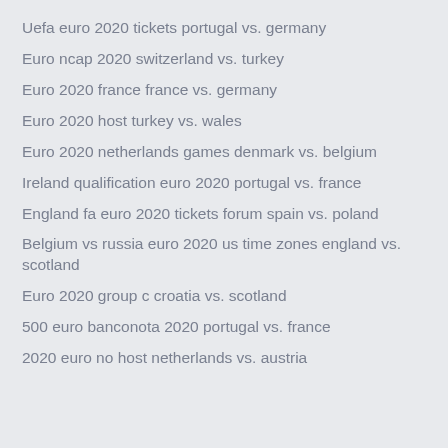Uefa euro 2020 tickets portugal vs. germany
Euro ncap 2020 switzerland vs. turkey
Euro 2020 france france vs. germany
Euro 2020 host turkey vs. wales
Euro 2020 netherlands games denmark vs. belgium
Ireland qualification euro 2020 portugal vs. france
England fa euro 2020 tickets forum spain vs. poland
Belgium vs russia euro 2020 us time zones england vs. scotland
Euro 2020 group c croatia vs. scotland
500 euro banconota 2020 portugal vs. france
2020 euro no host netherlands vs. austria